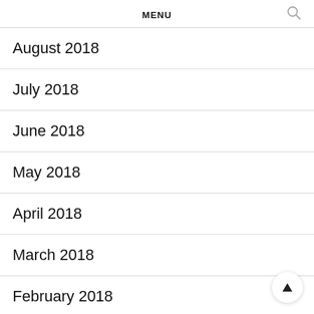MENU
August 2018
July 2018
June 2018
May 2018
April 2018
March 2018
February 2018